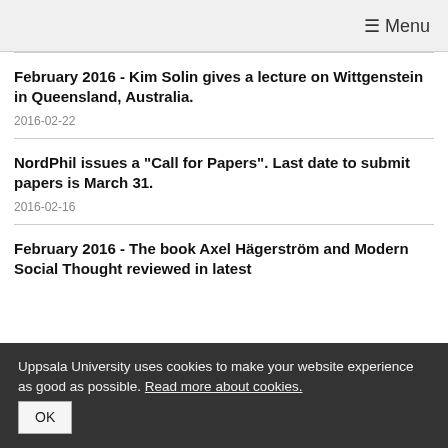☰ Menu
February 2016 - Kim Solin gives a lecture on Wittgenstein in Queensland, Australia.
2016-02-22
NordPhil issues a "Call for Papers". Last date to submit papers is March 31.
2016-02-16
February 2016 - The book Axel Hägerström and Modern Social Thought reviewed in latest
Uppsala University uses cookies to make your website experience as good as possible. Read more about cookies.